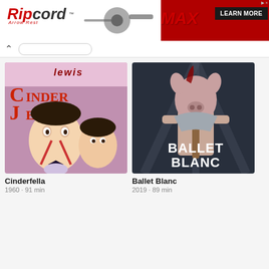[Figure (illustration): Ripcord Arrow Rest MAX advertisement banner with red and black branding and LEARN MORE button]
[Figure (photo): Movie poster for Cinderfella (1960) showing Jerry Lewis with comic expressions and a woman, illustrated style]
Cinderfella
1960 • 91 min
[Figure (photo): Movie poster for Ballet Blanc (2019) showing a figure with a pig head holding an axe, horror style]
Ballet Blanc
2019 • 89 min